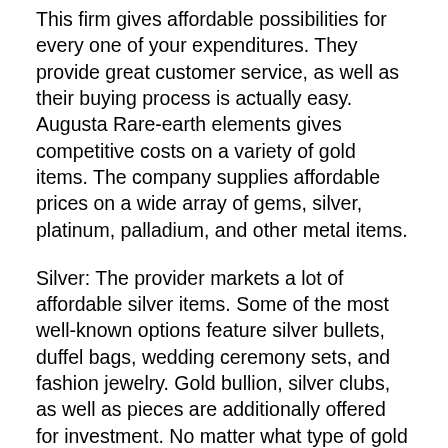This firm gives affordable possibilities for every one of your expenditures. They provide great customer service, as well as their buying process is actually easy. Augusta Rare-earth elements gives competitive costs on a variety of gold items. The company supplies affordable prices on a wide array of gems, silver, platinum, palladium, and other metal items.
Silver: The provider markets a lot of affordable silver items. Some of the most well-known options feature silver bullets, duffel bags, wedding ceremony sets, and fashion jewelry. Gold bullion, silver clubs, as well as pieces are additionally offered for investment. No matter what type of gold and silver you want for they will certainly be